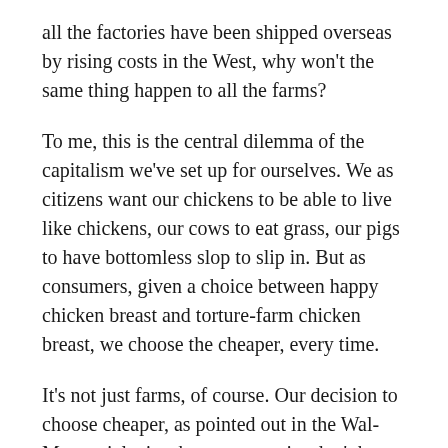all the factories have been shipped overseas by rising costs in the West, why won't the same thing happen to all the farms?
To me, this is the central dilemma of the capitalism we've set up for ourselves. We as citizens want our chickens to be able to live like chickens, our cows to eat grass, our pigs to have bottomless slop to slip in. But as consumers, given a choice between happy chicken breast and torture-farm chicken breast, we choose the cheaper, every time.
It's not just farms, of course. Our decision to choose cheaper, as pointed out in the Wal-Mart article, is why our countries don't have factories for clothing or cars or IKEA anymore either. As citizens, we want access to jobs that let us buy a house and see our kids a few nights a week. As consumers, we